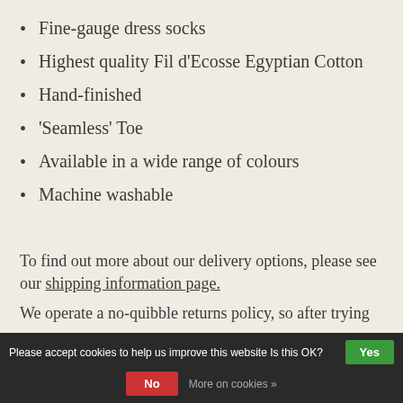Fine-gauge dress socks
Highest quality Fil d'Ecosse Egyptian Cotton
Hand-finished
'Seamless' Toe
Available in a wide range of colours
Machine washable
To find out more about our delivery options, please see our shipping information page.
We operate a no-quibble returns policy, so after trying our products at home, we will happily exchange them or issue a refund
Please accept cookies to help us improve this website Is this OK? Yes No More on cookies »